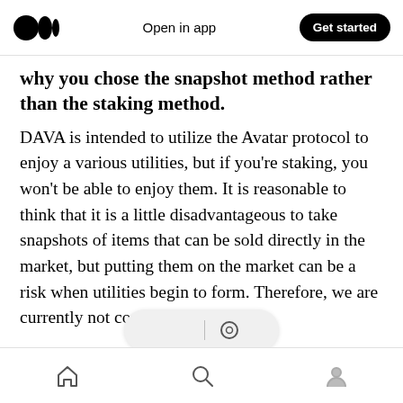Open in app | Get started
why you chose the snapshot method rather than the staking method.
DAVA is intended to utilize the Avatar protocol to enjoy a various utilities, but if you’re staking, you won’t be able to enjoy them. It is reasonable to think that it is a little disadvantageous to take snapshots of items that can be sold directly in the market, but putting them on the market can be a risk when utilities begin to form. Therefore, we are currently not considering staking.
Q: Please explain nerf system.
When you wear Genesis Wearables, your overall